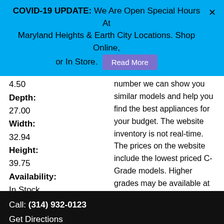COVID-19 UPDATE: We Are Open Special Hours At Maryland Heights & Earth City Locations. Shop Online, or In Store. Read More
4.50
Depth:
27.00
Width:
32.94
Height:
39.75
Availability:
In Stock
number we can show you similar models and help you find the best appliances for your budget. The website inventory is not real-time. The prices on the website include the lowest priced C-Grade models. Higher grades may be available at different prices. Please come in to choose the best fit for your needs.

You may find that our phone lines are quite busy due to the high
Call: (314) 932-0123
Get Directions
Contact Us